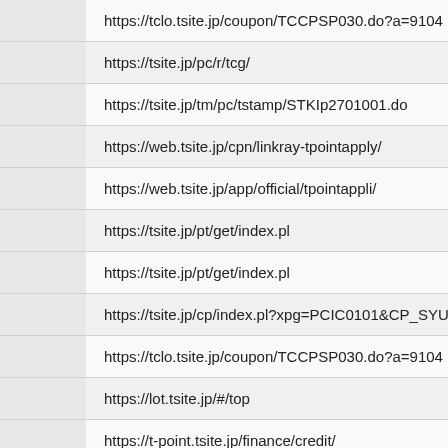| URL |
| --- |
| https://tclo.tsite.jp/coupon/TCCPSP030.do?a=9104 |
| https://tsite.jp/pc/r/tcg/ |
| https://tsite.jp/tm/pc/tstamp/STKIp2701001.do |
| https://web.tsite.jp/cpn/linkray-tpointapply/ |
| https://web.tsite.jp/app/official/tpointappli/ |
| https://tsite.jp/pt/get/index.pl |
| https://tsite.jp/pt/get/index.pl |
| https://tsite.jp/cp/index.pl?xpg=PCIC0101&CP_SYUBETU=2 |
| https://tclo.tsite.jp/coupon/TCCPSP030.do?a=9104 |
| https://lot.tsite.jp/#/top |
| https://t-point.tsite.jp/finance/credit/ |
| https://tsite.jp/pc/r/index/game.pl |
| https://tsite.jp/tm/pc/tstamp/STKIp2701001.do |